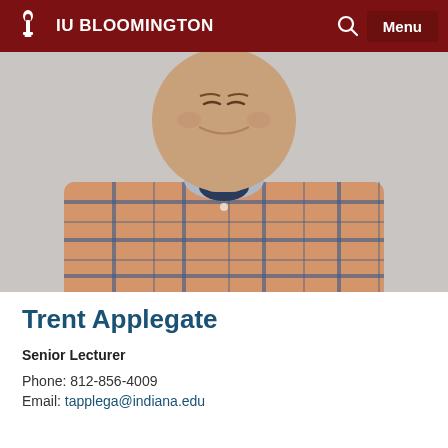IU BLOOMINGTON
[Figure (photo): Headshot photo of Trent Applegate, a man wearing an orange and blue plaid shirt, smiling, against a light gray background]
Trent Applegate
Senior Lecturer
Phone: 812-856-4009
Email: tapplega@indiana.edu